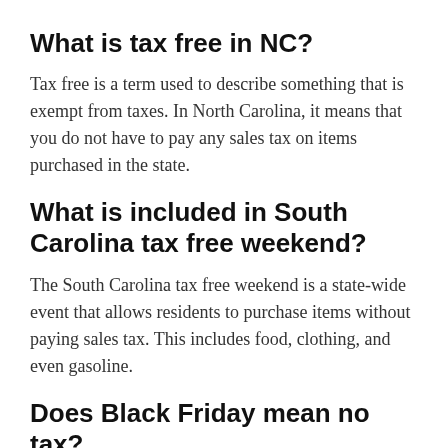What is tax free in NC?
Tax free is a term used to describe something that is exempt from taxes. In North Carolina, it means that you do not have to pay any sales tax on items purchased in the state.
What is included in South Carolina tax free weekend?
The South Carolina tax free weekend is a state-wide event that allows residents to purchase items without paying sales tax. This includes food, clothing, and even gasoline.
Does Black Friday mean no tax?
Black Friday is a term used to refer to the day after Thanksgiving in the United States. It is traditionally a